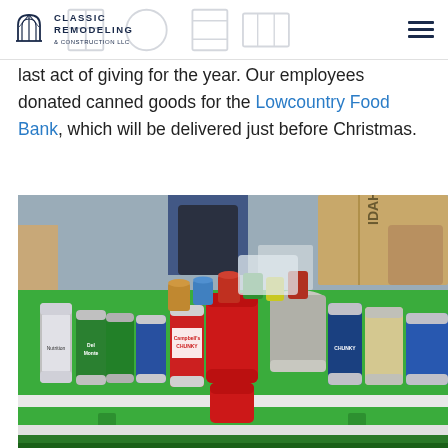Classic Remodeling & Construction LLC
last act of giving for the year. Our employees donated canned goods for the Lowcountry Food Bank, which will be delivered just before Christmas.
[Figure (photo): Photo of numerous donated canned goods arranged on a green picnic table outdoors, with people visible in the background and cardboard boxes behind them.]